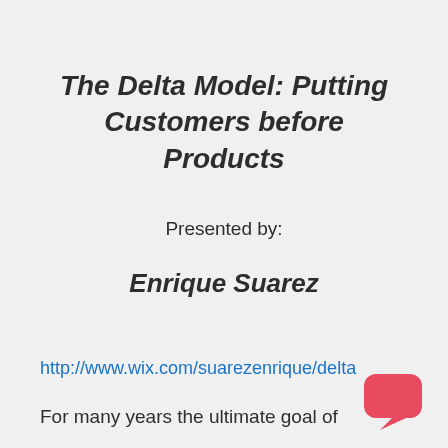The Delta Model: Putting Customers before Products
Presented by:
Enrique Suarez
http://www.wix.com/suarezenrique/delta
For many years the ultimate goal of